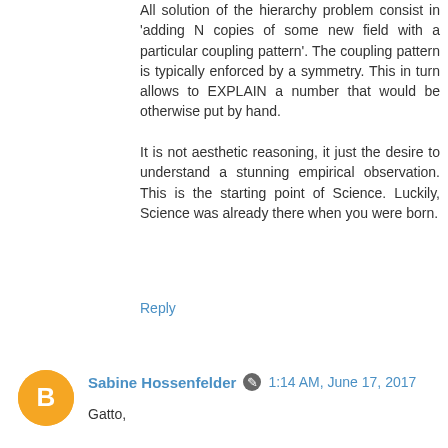All solution of the hierarchy problem consist in 'adding N copies of some new field with a particular coupling pattern'. The coupling pattern is typically enforced by a symmetry. This in turn allows to EXPLAIN a number that would be otherwise put by hand.

It is not aesthetic reasoning, it just the desire to understand a stunning empirical observation. This is the starting point of Science. Luckily, Science was already there when you were born.
Reply
Sabine Hossenfelder  1:14 AM, June 17, 2017
Gatto,

Are you a physicist yourself or are you just repeating something you heard elsewhere? Why do you think it's better to put in several fields (plus numbers) by hand than to put in one number by hand? Sure this is aesthetic reasoning. Really, I think you don't know what you are even talking about.